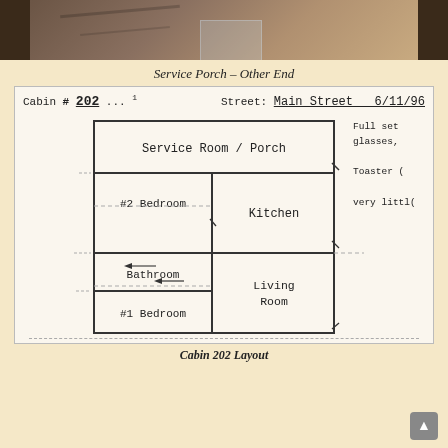[Figure (photo): Photo of service porch other end of cabin, showing wooden framing and interior details]
Service Porch – Other End
[Figure (engineering-diagram): Hand-drawn floor plan of Cabin 202 on Main Street dated 6/11/96. Shows Service Room/Porch at top, #2 Bedroom and Kitchen in middle, Bathroom below #2 Bedroom, Living Room below Kitchen, #1 Bedroom at bottom left. Notes on right side say: Full set glasses, Toaster (, Very littl]
Cabin 202 Layout